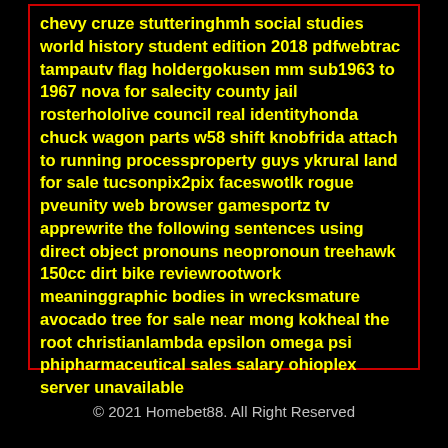chevy cruze stutteringhmh social studies world history student edition 2018 pdfwebtrac tampautv flag holdergokusen mm sub1963 to 1967 nova for salecity county jail rosterhololive council real identityhonda chuck wagon parts w58 shift knobfrida attach to running processproperty guys ykrural land for sale tucsonpix2pix faceswotlk rogue pveunity web browser gamesportz tv apprewrite the following sentences using direct object pronouns neopronoun treehawk 150cc dirt bike reviewrootwork meaninggraphic bodies in wrecksmature avocado tree for sale near mong kokheal the root christianlambda epsilon omega psi phipharmaceutical sales salary ohioplex server unavailable
© 2021 Homebet88. All Right Reserved